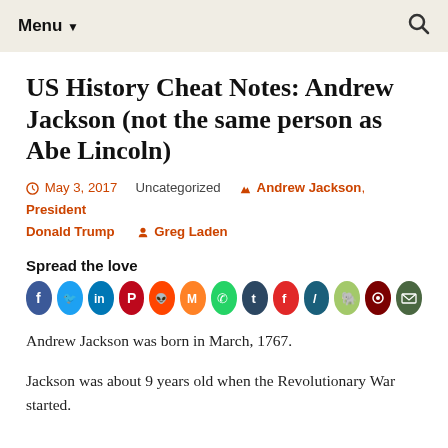Menu ▼  🔍
US History Cheat Notes: Andrew Jackson (not the same person as Abe Lincoln)
🕐 May 3, 2017   Uncategorized   🏷 Andrew Jackson, President Donald Trump   👤 Greg Laden
Spread the love
[Figure (infographic): Row of 13 social media sharing icon circles: Facebook (blue), Twitter (light blue), LinkedIn (dark blue), Pinterest (red), Reddit (red-orange), Mix (orange), WhatsApp (green), Tumblr (dark blue), Flipboard (dark red), Instapaper/Pocket (dark teal), Evernote (light green), a dark red icon, Email (olive/dark green)]
Andrew Jackson was born in March, 1767.
Jackson was about 9 years old when the Revolutionary War started.